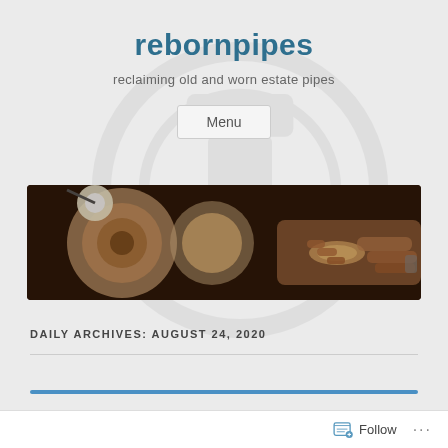rebornpipes
reclaiming old and worn estate pipes
Menu
[Figure (photo): Hands working on a pipe on a lathe, illuminated by a work lamp in a workshop setting]
DAILY ARCHIVES: AUGUST 24, 2020
Follow ...